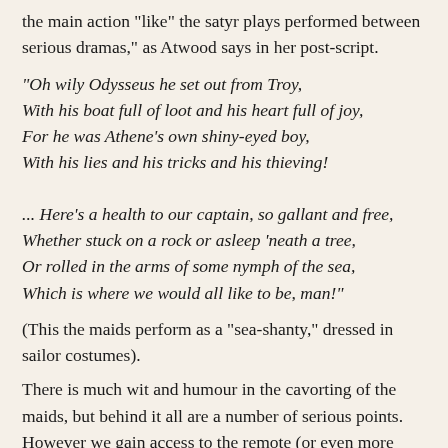the main action  like  the satyr plays performed between serious dramas," as Atwood says in her post-script.
"Oh wily Odysseus he set out from Troy,
With his boat full of loot and his heart full of joy,
For he was Athene's own shiny-eyed boy,
With his lies and his tricks and his thieving!

... Here's a health to our captain, so gallant and free,
Whether stuck on a rock or asleep 'neath a tree,
Or rolled in the arms of some nymph of the sea,
Which is where we would all like to be, man!"
(This the maids perform as a "sea-shanty," dressed in sailor costumes).
There is much wit and humour in the cavorting of the maids, but behind it all are a number of serious points. However we gain access to the remote (or even more recent) past, whether through conventional history, or ancient literature, or even archaeology, the lives of some people are a lot more visible than those of others. Often it is fiction that is best placed to shine a light into corners they would ordinarily not be shown.